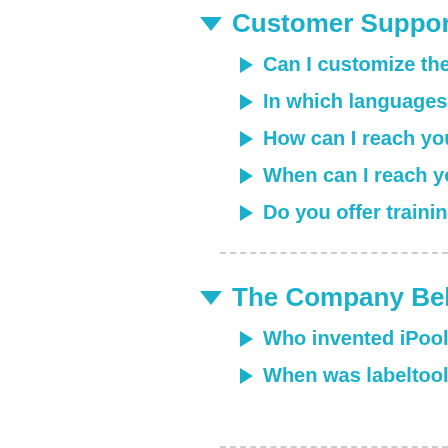Customer Support an
Can I customize the user (
In which languages can I s
How can I reach your supp
When can I reach you by p
Do you offer training sessi
The Company Behind
Who invented iPool?
When was labeltools foun